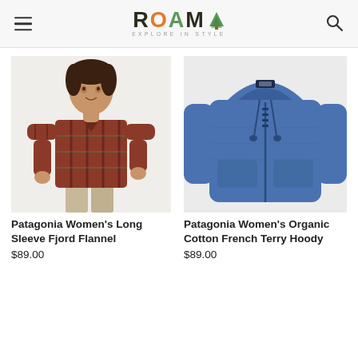ROAM — EXPLORE IN STYLE (header navigation with menu and search icons)
[Figure (photo): Woman wearing a red plaid flannel long-sleeve shirt, smiling, on a light gray background]
Patagonia Women's Long Sleeve Fjord Flannel
$89.00
[Figure (photo): Blue zip-up hooded French terry sweatshirt/hoodie laid flat on a light gray background]
Patagonia Women's Organic Cotton French Terry Hoody
$89.00